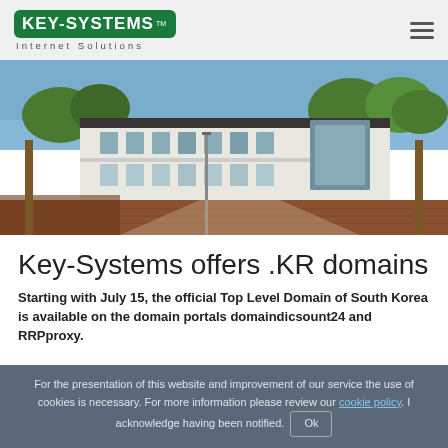KEY-SYSTEMS Internet Solutions
[Figure (photo): Exterior photo of a modern white office building with trees along a red-brick pathway, taken in daylight.]
Key-Systems offers .KR domains
Starting with July 15, the official Top Level Domain of South Korea is available on the domain portals domaindicsount24 and RRPproxy.
For the presentation of this website and improvement of our service the use of cookies is necessary. For more information please review our cookie policy. I acknowledge having been notified. Ok